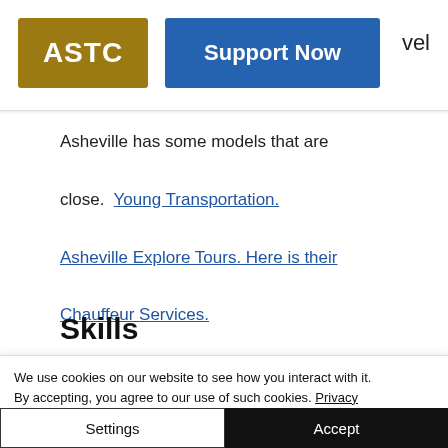ASTC | Support Now | vel
Asheville has some models that are close. Young Transportation. Asheville Explore Tours. Here is their Chauffeur Services.
Skills
We use cookies on our website to see how you interact with it. By accepting, you agree to our use of such cookies. Privacy Policy
Settings | Accept